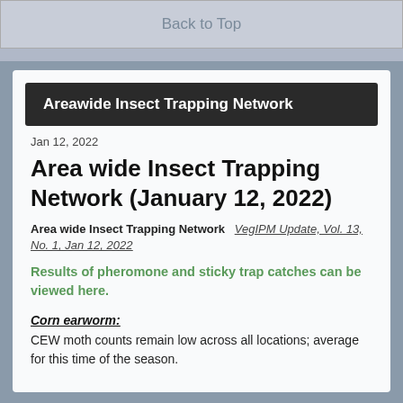Back to Top
Areawide Insect Trapping Network
Jan 12, 2022
Area wide Insect Trapping Network (January 12, 2022)
Area wide Insect Trapping Network   VegIPM Update, Vol. 13, No. 1, Jan 12, 2022
Results of pheromone and sticky trap catches can be viewed here.
Corn earworm:
CEW moth counts remain low across all locations; average for this time of the season.